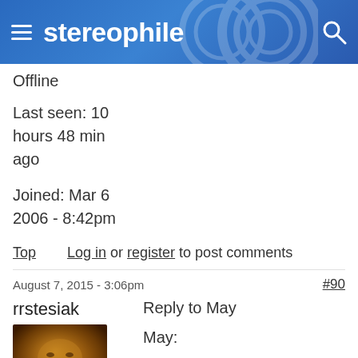stereophile
Offline
Last seen: 10 hours 48 min ago
Joined: Mar 6 2006 - 8:42pm
Top   Log in or register to post comments
August 7, 2015 - 3:06pm   #90
rrstesiak
[Figure (photo): User avatar photo of rrstesiak, a blurry close-up face image with warm orange/brown tones]
Reply to May
May:
Yes. By following the